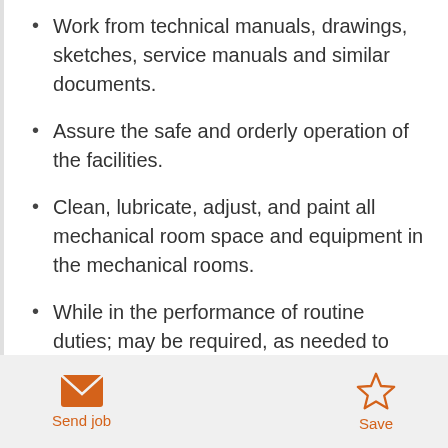Work from technical manuals, drawings, sketches, service manuals and similar documents.
Assure the safe and orderly operation of the facilities.
Clean, lubricate, adjust, and paint all mechanical room space and equipment in the mechanical rooms.
While in the performance of routine duties; may be required, as needed to perform all work associated with all maintenance trades of an equal or lower grade classification; where the
Send job   Save